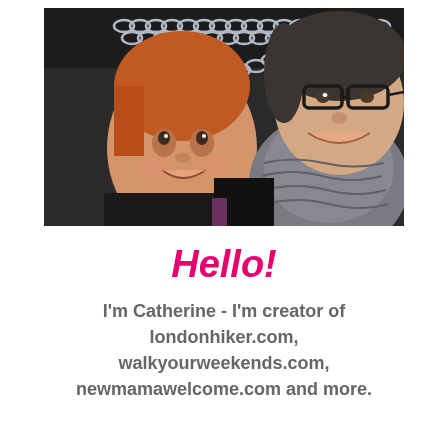[Figure (photo): A photo of two people — a young red-haired child and an adult woman wearing glasses and a grey knit scarf — posing together outdoors near metal chains, both smiling at the camera.]
Hello!
I'm Catherine - I'm creator of londonhiker.com, walkyourweekends.com, newmamawelcome.com and more.